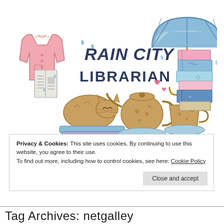[Figure (illustration): Rain City Librarian logo illustration featuring hand-lettered text 'RAIN CITY LIBRARIAN' with a pink cardigan, umbrella, sleeping cat on books, teapot, teacup, stack of colorful books, raindrops, and hearts]
Privacy & Cookies: This site uses cookies. By continuing to use this website, you agree to their use.
To find out more, including how to control cookies, see here: Cookie Policy
Close and accept
Tag Archives: netgalley